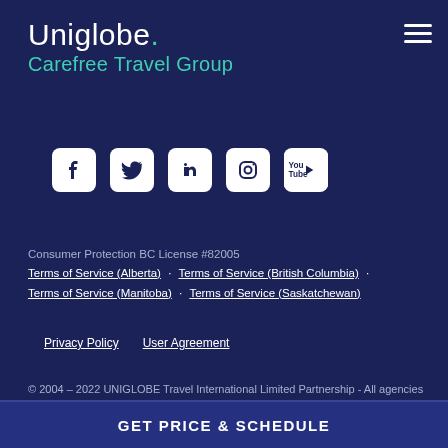Uniglobe. Carefree Travel Group
[Figure (infographic): Social media icons for Facebook, Twitter, LinkedIn, Instagram, YouTube]
Consumer Protection BC License #82005
Terms of Service (Alberta) · Terms of Service (British Columbia) · Terms of Service (Manitoba) · Terms of Service (Saskatchewan)
Privacy Policy   User Agreement
© 2004 – 2022 UNIGLOBE Travel International Limited Partnership - All agencies independently owned and operated.
GET PRICE & SCHEDULE